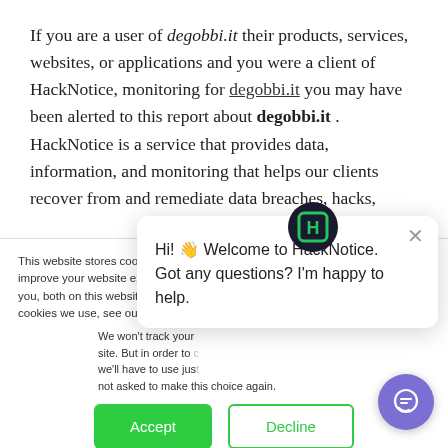If you are a user of degobbi.it their products, services, websites, or applications and you were a client of HackNotice, monitoring for degobbi.it you may have been alerted to this report about degobbi.it . HackNotice is a service that provides data, information, and monitoring that helps our clients recover from and remediate data breaches, hacks,
This website stores cookies on your computer. These are used to improve your website experience you, both on this website and through cookies we use, see our Privacy P
We won't track your site. But in order to we'll have to use jus not asked to make this choice again.
[Figure (screenshot): Chat popup from HackNotice with text: Hi! Welcome to HackNotice. Got any questions? I'm happy to help. Close button (X) in top right. HackNotice logo (H in circle) above the popup.]
Accept
Decline